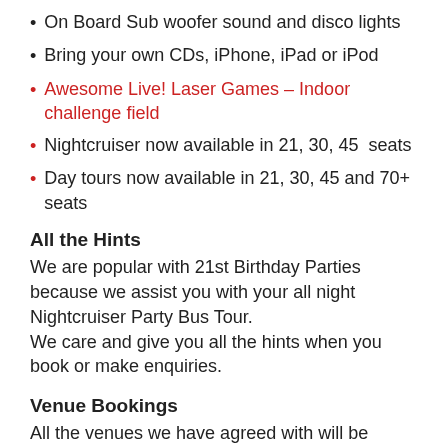On Board Sub woofer sound and disco lights
Bring your own CDs, iPhone, iPad or iPod
Awesome Live! Laser Games – Indoor challenge field
Nightcruiser now available in 21, 30, 45  seats
Day tours now available in 21, 30, 45 and 70+ seats
All the Hints
We are popular with 21st Birthday Parties because we assist you with your all night Nightcruiser Party Bus Tour.
We care and give you all the hints when you book or make enquiries.
Venue Bookings
All the venues we have agreed with will be booked in the name of the person chartering the Nightcruiser. All the instructions will have been forwarded to you and you would have agreed with them. Most venues have special conditions and we know them all and will mention them to you during your booking and enquiry, plus stated in your confirmation email. If you have preferred places you wish to visit just